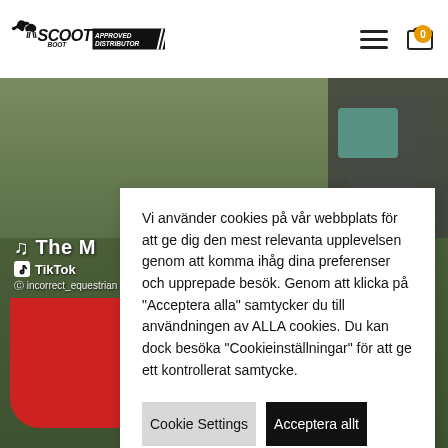[Figure (logo): Scoot Boot Approved Distributor logo with running horse silhouette]
[Figure (photo): Outdoor equestrian scene with grass background, TikTok video overlay showing '@incorrect_equestrian' user and title 'The M', and a red bucket in the foreground]
Vi använder cookies på vår webbplats för att ge dig den mest relevanta upplevelsen genom att komma ihåg dina preferenser och upprepade besök. Genom att klicka på "Acceptera alla" samtycker du till användningen av ALLA cookies. Du kan dock besöka "Cookieinställningar" för att ge ett kontrollerat samtycke.
Cookie Settings
Acceptera allt